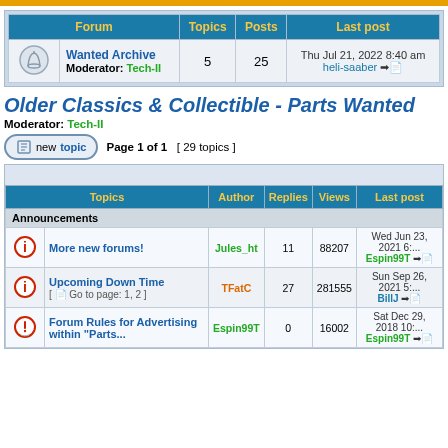| Forum | Topics | Posts | Last post |
| --- | --- | --- | --- |
| Wanted Archive
Moderator: Tech-II | 5 | 25 | Thu Jul 21, 2022 8:40 am
heli-saaber |
Older Classics & Collectible - Parts Wanted
Moderator: Tech-II
Page 1 of 1  [ 29 topics ]
| Topics | Author | Replies | Views | Last post |
| --- | --- | --- | --- | --- |
| Announcements |  |  |  |  |
| More new forums! | Jules_ht | 11 | 88207 | Wed Jun 23, 2021 6:... Espin99T |
| Upcoming Down Time [ Go to page: 1, 2 ] | TFatC | 27 | 281555 | Sun Sep 26, 2021 5:... BillJ |
| Forum Rules for Advertising within "Parts... | Espin99T | 0 | 16002 | Sat Dec 29, 2018 10:... Espin99T |